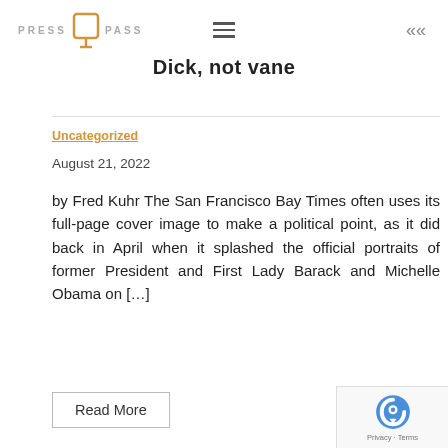PRESS Q PASS
Dick, not vane
Uncategorized
August 21, 2022
by Fred Kuhr The San Francisco Bay Times often uses its full-page cover image to make a political point, as it did back in April when it splashed the official portraits of former President and First Lady Barack and Michelle Obama on […]
Read More